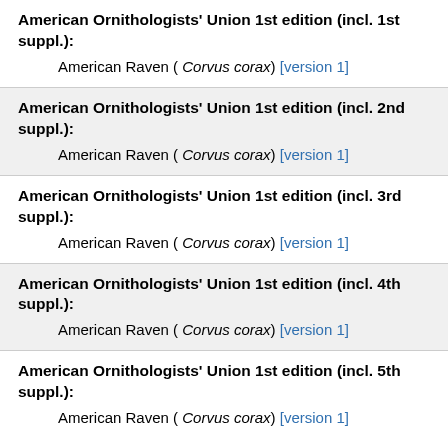American Ornithologists' Union 1st edition (incl. 1st suppl.):
American Raven ( Corvus corax) [version 1]
American Ornithologists' Union 1st edition (incl. 2nd suppl.):
American Raven ( Corvus corax) [version 1]
American Ornithologists' Union 1st edition (incl. 3rd suppl.):
American Raven ( Corvus corax) [version 1]
American Ornithologists' Union 1st edition (incl. 4th suppl.):
American Raven ( Corvus corax) [version 1]
American Ornithologists' Union 1st edition (incl. 5th suppl.):
American Raven ( Corvus corax) [version 1]